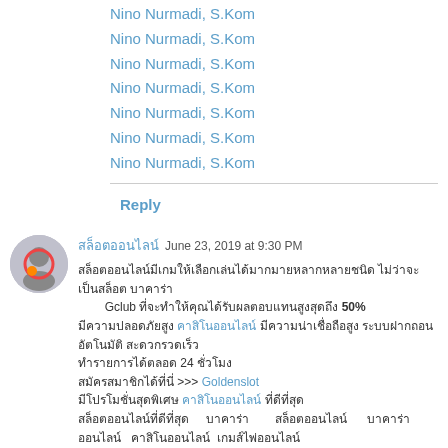Nino Nurmadi, S.Kom
Nino Nurmadi, S.Kom
Nino Nurmadi, S.Kom
Nino Nurmadi, S.Kom
Nino Nurmadi, S.Kom
Nino Nurmadi, S.Kom
Nino Nurmadi, S.Kom
Reply
สล็อตออนไลน์  June 23, 2019 at 9:30 PM
สล็อตออนไลน์มีเกมให้เลือกเล่นได้มากมายหลากหลายชนิด ไม่ว่าจะเป็นสล็อต บาคาร่า Gclub ที่จะทำให้คุณได้รับผลตอบแทนสูงสุดถึง 50% มีความปลอดภัยสูง คาสิโนออนไลน์ มีความน่าเชื่อถือสูง ระบบฝากถอนอัตโนมัติ สะดวกรวดเร็ว ทำรายการได้ตลอด 24 ชั่วโมง สมัครสมาชิกได้ที่นี่ >>> Goldenslot มีโปรโมชั่นสุดพิเศษ คาสิโนออนไลน์ ที่ดีที่สุด สล็อตออนไลน์ที่ดีที่สุด บาคาร่า สล็อตออนไลน์ บาคาร่าออนไลน์ คาสิโนออนไลน์ เกมส์ไพ่ออนไลน์ โบนัส
Reply